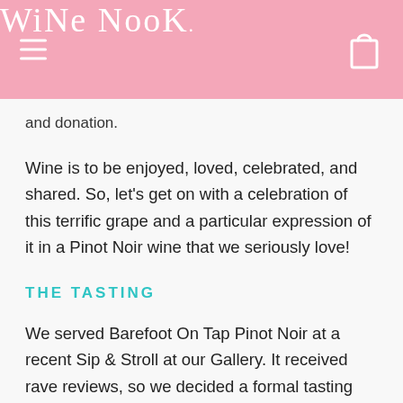WiNe NooK.
and donation.
Wine is to be enjoyed, loved, celebrated, and shared. So, let’s get on with a celebration of this terrific grape and a particular expression of it in a Pinot Noir wine that we seriously love!
THE TASTING
We served Barefoot On Tap Pinot Noir at a recent Sip & Stroll at our Gallery. It received rave reviews, so we decided a formal tasting and evaluation was in order. (If you are a frequent reader of our blogs, you know how “format” our tastings are. We reinvent ourselves...